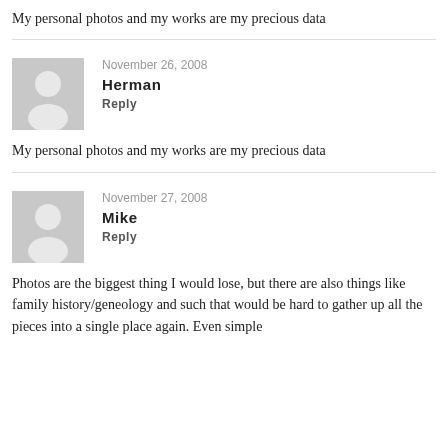My personal photos and my works are my precious data
November 26, 2008
Herman
Reply
My personal photos and my works are my precious data
November 27, 2008
Mike
Reply
Photos are the biggest thing I would lose, but there are also things like family history/geneology and such that would be hard to gather up all the pieces into a single place again. Even simple